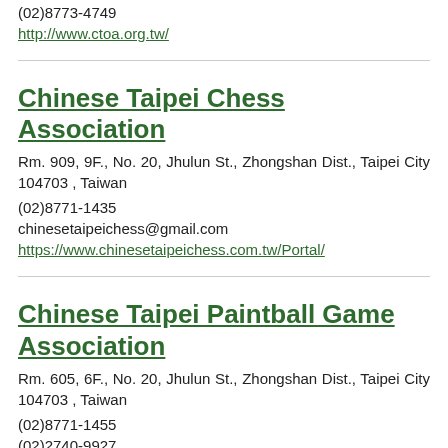(02)8773-4749
http://www.ctoa.org.tw/
Chinese Taipei Chess Association
Rm. 909, 9F., No. 20, Jhulun St., Zhongshan Dist., Taipei City 104703 , Taiwan
(02)8771-1435
chinesetaipeichess@gmail.com
https://www.chinesetaipeichess.com.tw/Portal/
Chinese Taipei Paintball Game Association
Rm. 605, 6F., No. 20, Jhulun St., Zhongshan Dist., Taipei City 104703 , Taiwan
(02)8771-1455
(02)2740-9927
http://www.ctpga.org.tw/
Chinese Taipei Paralympic Committee